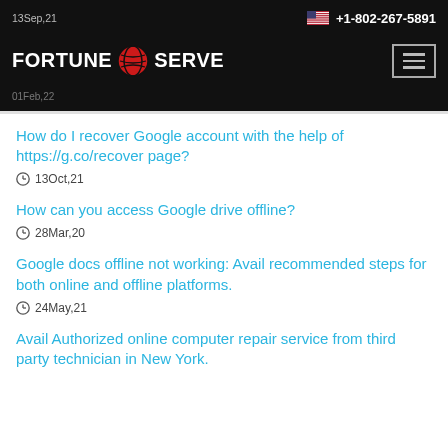+1-802-267-5891
[Figure (logo): Fortune Serve logo with red globe icon]
How do I recover Google account with the help of https://g.co/recover page?
13Oct,21
How can you access Google drive offline?
28Mar,20
Google docs offline not working: Avail recommended steps for both online and offline platforms.
24May,21
Avail Authorized online computer repair service from third party technician in New York.